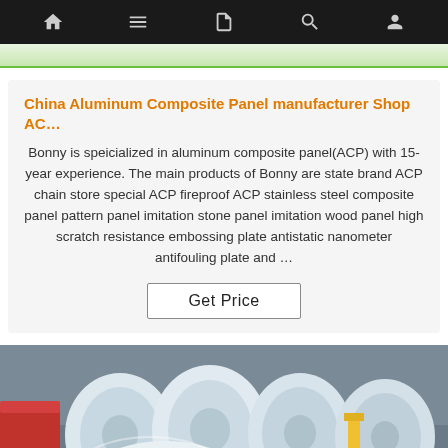Navigation bar with icons: home, menu, document, search, user
China Aluminum Composite Panel manufacturer Shop AC…
Bonny is speicialized in aluminum composite panel(ACP) with 15-year experience. The main products of Bonny are state brand ACP chain store special ACP fireproof ACP stainless steel composite panel pattern panel imitation stone panel imitation wood panel high scratch resistance embossing plate antistatic nanometer antifouling plate and …
Get Price
[Figure (photo): Large rolls of aluminum composite panel material, wrapped in white/silver plastic sheeting, stacked in an outdoor industrial setting. A red barrel is visible on the left. A yellow post is in the background. A TOP logo watermark appears in the bottom right.]